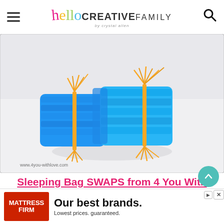hello CREATIVE FAMILY by crystal allen
[Figure (photo): A rolled-up blue felt sleeping bag SWAP tied with yellow/gold string, photographed on a white surface. Watermark reads www.4you-withlove.com]
Sleeping Bag SWAPS from 4 You With Love
[Figure (other): Advertisement banner: Mattress Firm - Our best brands. Lowest prices. guaranteed.]